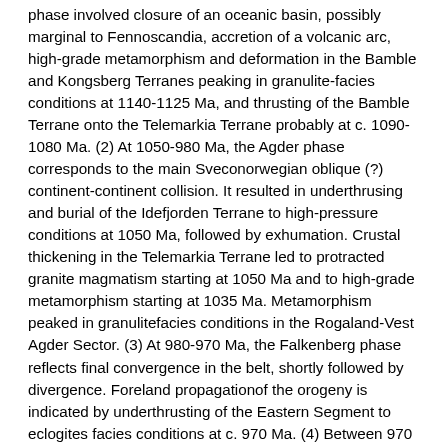phase involved closure of an oceanic basin, possibly marginal to Fennoscandia, accretion of a volcanic arc, high-grade metamorphism and deformation in the Bamble and Kongsberg Terranes peaking in granulite-facies conditions at 1140-1125 Ma, and thrusting of the Bamble Terrane onto the Telemarkia Terrane probably at c. 1090-1080 Ma. (2) At 1050-980 Ma, the Agder phase corresponds to the main Sveconorwegian oblique (?) continent-continent collision. It resulted in underthrusing and burial of the Idefjorden Terrane to high-pressure conditions at 1050 Ma, followed by exhumation. Crustal thickening in the Telemarkia Terrane led to protracted granite magmatism starting at 1050 Ma and to high-grade metamorphism starting at 1035 Ma. Metamorphism peaked in granulitefacies conditions in the Rogaland-Vest Agder Sector. (3) At 980-970 Ma, the Falkenberg phase reflects final convergence in the belt, shortly followed by divergence. Foreland propagationof the orogeny is indicated by underthrusting of the Eastern Segment to eclogites facies conditions at c. 970 Ma. (4) Between 970 and 900 Ma, the Dalane phase